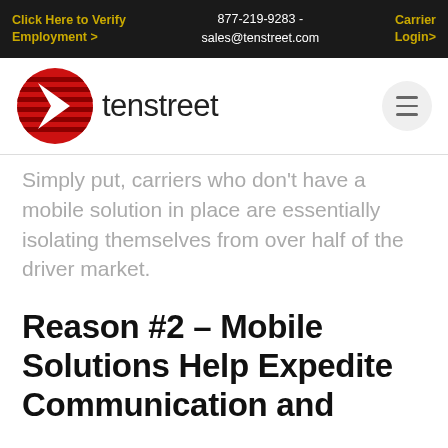Click Here to Verify Employment >    877-219-9283 - sales@tenstreet.com    Carrier Login>
[Figure (logo): Tenstreet logo: red circle with white chevron/arrow pointing right and horizontal red stripes, with bold text 'tenstreet' beside it]
Simply put, carriers who don't have a mobile solution in place are essentially isolating themselves from over half of the driver market.
Reason #2 – Mobile Solutions Help Expedite Communication and